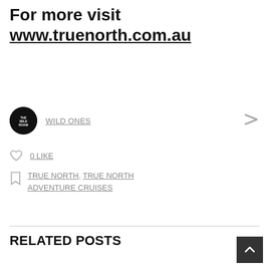For more visit www.truenorth.com.au
WILD ONES
0 LIKE
TRUE NORTH, TRUE NORTH ADVENTURE CRUISES
RELATED POSTS